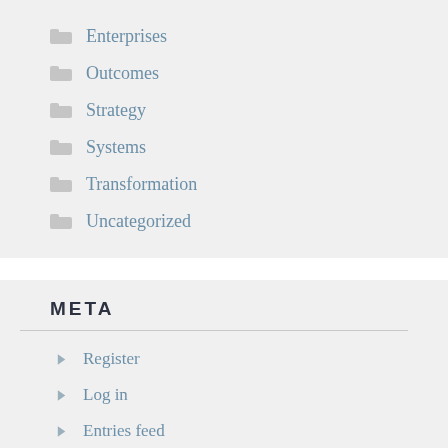Enterprises
Outcomes
Strategy
Systems
Transformation
Uncategorized
META
Register
Log in
Entries feed
Comments feed
WordPress.com